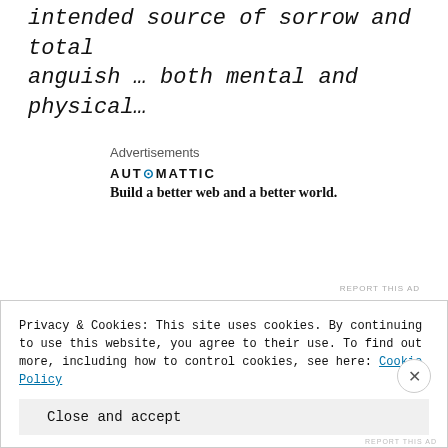intended source of sorrow and total anguish … both mental and physical…
[Figure (other): Automattic advertisement: 'AUTOMATTIC — Build a better web and a better world.']
But …
As much as I know it will trudged up feelings of negativity and May severed
Privacy & Cookies: This site uses cookies. By continuing to use this website, you agree to their use. To find out more, including how to control cookies, see here: Cookie Policy
Close and accept